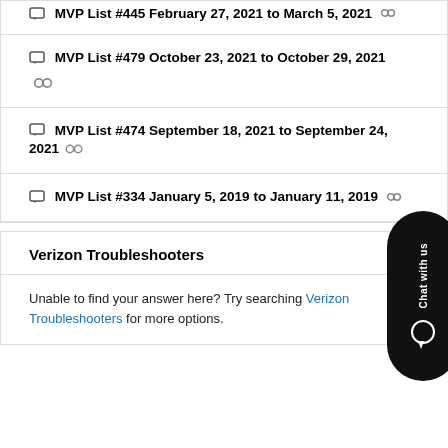MVP List #445 February 27, 2021 to March 5, 2021
MVP List #479 October 23, 2021 to October 29, 2021
MVP List #474 September 18, 2021 to September 24, 2021
MVP List #334 January 5, 2019 to January 11, 2019
Verizon Troubleshooters
Unable to find your answer here? Try searching Verizon Troubleshooters for more options.